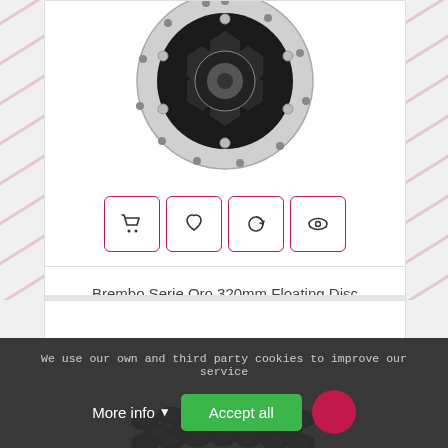[Figure (photo): Brembo Serie Oro 320mm floating brake disc with hexagonal pattern cutouts and perforated edge, viewed from above. Below the disc are four action buttons in a row: shopping cart, heart/wishlist, compare, and eye/quick-view icons, each in a rounded rectangle border in dark red/crimson.]
Brembo Serie Oro 320mm Floating Disc
€235.95
[Figure (photo): Bottom portion of a second product card showing a motorcycle drive chain (black metal chain links) against a white background.]
We use our own and third party cookies to improve our service
More info
Accept all